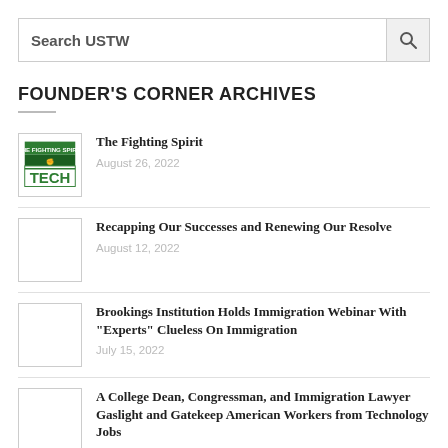Search USTW
FOUNDER'S CORNER ARCHIVES
The Fighting Spirit | August 26, 2022
Recapping Our Successes and Renewing Our Resolve | August 12, 2022
Brookings Institution Holds Immigration Webinar With "Experts" Clueless On Immigration | July 15, 2022
A College Dean, Congressman, and Immigration Lawyer Gaslight and Gatekeep American Workers from Technology Jobs | July 1, 2022
American Corporations – Cast Down Your Bucket Where You Are!